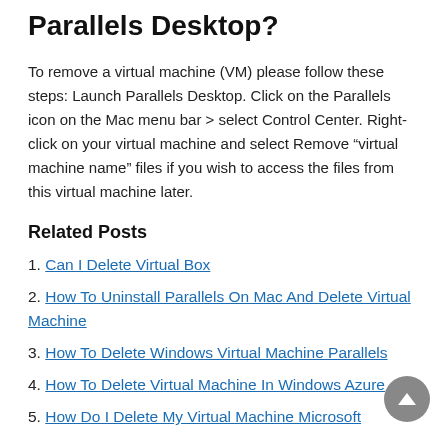Parallels Desktop?
To remove a virtual machine (VM) please follow these steps: Launch Parallels Desktop. Click on the Parallels icon on the Mac menu bar > select Control Center. Right-click on your virtual machine and select Remove “virtual machine name” files if you wish to access the files from this virtual machine later.
Related Posts
1. Can I Delete Virtual Box
2. How To Uninstall Parallels On Mac And Delete Virtual Machine
3. How To Delete Windows Virtual Machine Parallels
4. How To Delete Virtual Machine In Windows Azure
5. How Do I Delete My Virtual Machine Microsoft